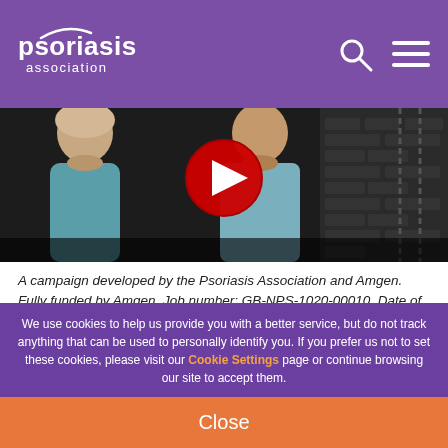psoriasis association
[Figure (screenshot): YouTube video thumbnail showing two people — a woman on the left and a man on the right — with a YouTube play button (red circle with white triangle) in the center, dark/moody background.]
A campaign developed by the Psoriasis Association and Amgen. Fully funded by Amgen. Job number: GB-NPS-1020-00010. Date of preparation: November 2020
We use cookies to help us provide you with a better service, but do not track anything that can be used to personally identify you. If you prefer us not to set these cookies, please visit our Cookie Settings page or continue browsing our site to accept them.
Close